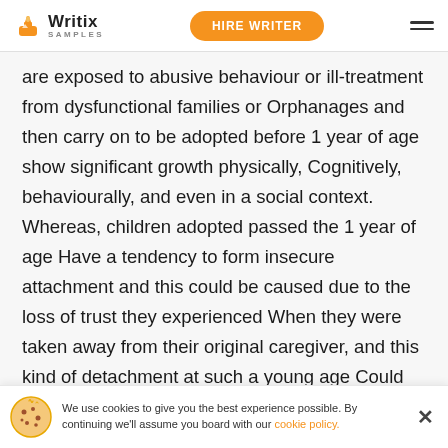Writix SAMPLES | HIRE WRITER
are exposed to abusive behaviour or ill-treatment from dysfunctional families or Orphanages and then carry on to be adopted before 1 year of age show significant growth physically, Cognitively, behaviourally, and even in a social context. Whereas, children adopted passed the 1 year of age Have a tendency to form insecure attachment and this could be caused due to the loss of trust they experienced When they were taken away from their original caregiver, and this kind of detachment at such a young age Could end up sho have
We use cookies to give you the best experience possible. By continuing we'll assume you board with our cookie policy.